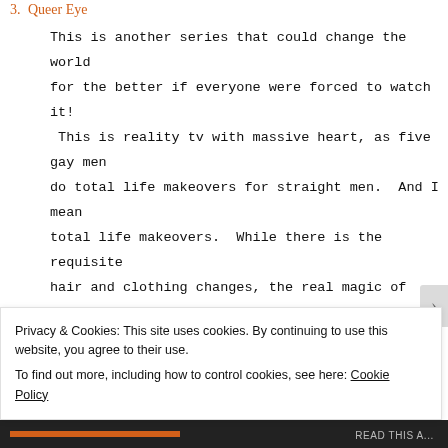3. Queer Eye
This is another series that could change the world for the better if everyone were forced to watch it! This is reality tv with massive heart, as five gay men do total life makeovers for straight men. And I mean total life makeovers. While there is the requisite hair and clothing changes, the real magic of this show comes from the inside-out transformation of men blossoming under male attention and learning to express their emotions. I cry a lot while watching this show, and
4. Terrace House
Privacy & Cookies: This site uses cookies. By continuing to use this website, you agree to their use.
To find out more, including how to control cookies, see here: Cookie Policy
Close and accept